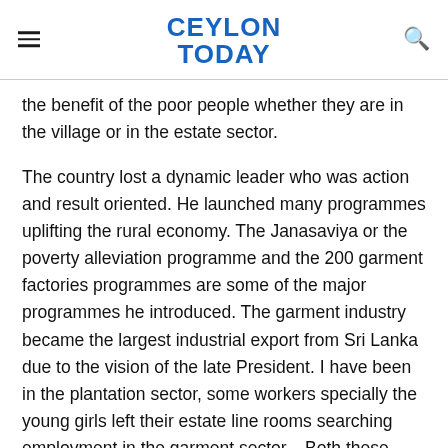CEYLON TODAY
the benefit of the poor people whether they are in the village or in the estate sector.
The country lost a dynamic leader who was action and result oriented. He launched many programmes uplifting the rural economy. The Janasaviya or the poverty alleviation programme and the 200 garment factories programmes are some of the major programmes he introduced. The garment industry became the largest industrial export from Sri Lanka due to the vision of the late President. I have been in the plantation sector, some workers specially the young girls left their estate line rooms searching employment in the garment sector.   Both these programmes made a significant contribution to the economic emancipation of the rural